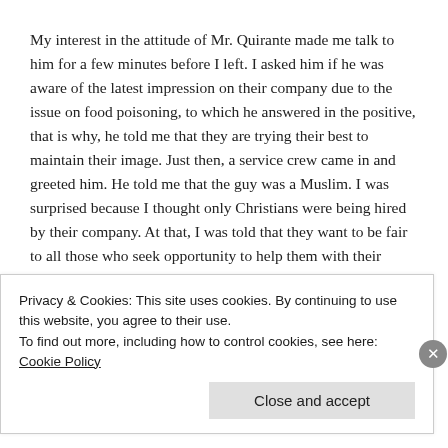My interest in the attitude of Mr. Quirante made me talk to him for a few minutes before I left. I asked him if he was aware of the latest impression on their company due to the issue on food poisoning, to which he answered in the positive, that is why, he told me that they are trying their best to maintain their image. Just then, a service crew came in and greeted him. He told me that the guy was a Muslim. I was surprised because I thought only Christians were being hired by their company. At that, I was told that they want to be fair to all those who seek opportunity to help them with their studies, that is why their outlet has hired four Muslim staff. I was not surprised by what he told me as McDonalds is known for its penchant in helping working students. In fact, Mr. Quirante told me that he went through the same stage, as he was himself, a working student
Privacy & Cookies: This site uses cookies. By continuing to use this website, you agree to their use.
To find out more, including how to control cookies, see here: Cookie Policy
Close and accept